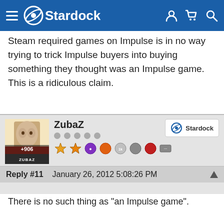Stardock
Steam required games on Impulse is in no way trying to trick Impulse buyers into buying something they thought was an Impulse game. This is a ridiculous claim.
ZubaZ — Reply #11 January 26, 2012 5:08:26 PM
There is no such thing as "an Impulse game".

Impulse (now Gamestop) is a storefront. Just as a person might go into a brick and mortar store and buy a game from any number of publishers or developers there may be some requirement on the box describing things like download mechanisms or what-not.